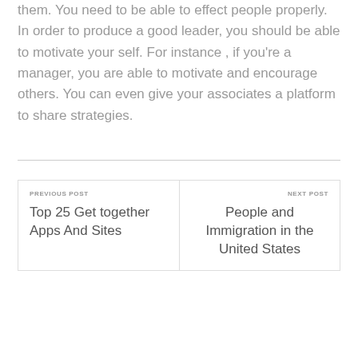them. You need to be able to effect people properly. In order to produce a good leader, you should be able to motivate your self. For instance , if you're a manager, you are able to motivate and encourage others. You can even give your associates a platform to share strategies.
PREVIOUS POST
Top 25 Get together Apps And Sites
NEXT POST
People and Immigration in the United States